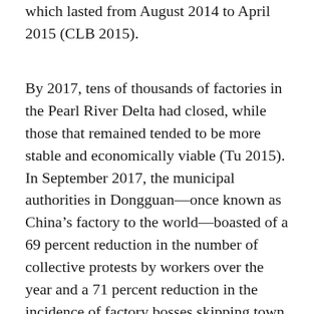which lasted from August 2014 to April 2015 (CLB 2015).
By 2017, tens of thousands of factories in the Pearl River Delta had closed, while those that remained tended to be more stable and economically viable (Tu 2015). In September 2017, the municipal authorities in Dongguan—once known as China's factory to the world—boasted of a 69 percent reduction in the number of collective protests by workers over the year and a 71 percent reduction in the incidence of factory bosses skipping town without paying wages (CLB 2017). The local labour officials claimed the credit themselves for reducing the number of disputes, but it seems much more